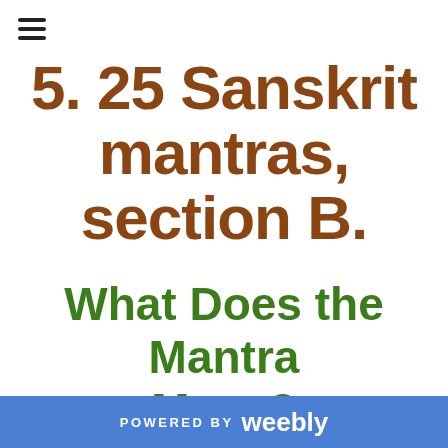≡
5. 25 Sanskrit mantras, section B.
What Does the Mantra Mean?
Manta Meditation  -  Stabilising then
POWERED BY weebly